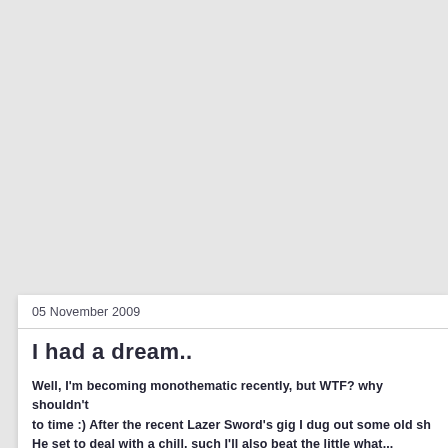05 November 2009
I had a dream..
Well, I'm becoming monothematic recently, but WTF? why shouldn't I from time to time :)  After the recent Lazer Sword's gig I dug out some old sh...  He set to deal with a chill, such I'll also beat the little what...